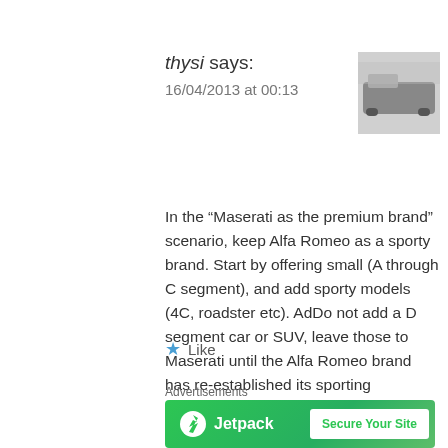thysi says:
16/04/2013 at 00:13
[Figure (photo): Small black and white thumbnail avatar image of a car or vehicle scene]
In the “Maserati as the premium brand” scenario, keep Alfa Romeo as a sporty brand. Start by offering small (A through C segment), and add sporty models (4C, roadster etc). AdDo not add a D segment car or SUV, leave those to Maserati until the Alfa Romeo brand has re-established its sporting credentials.
And get Alfa Romeo back into racing. Any racing, anywhere will do at this point, the Quadrifoglio belongs on a proper racing car, not just hot hatches.
★ Like
Advertisements
[Figure (screenshot): Jetpack advertisement banner with green background, Jetpack logo and 'Secure Your Site' button]